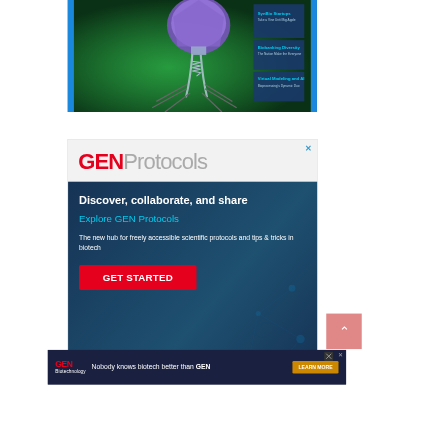[Figure (illustration): Bacteriophage 3D render on green surface, scientific magazine covers visible on right with text 'SynBio Startups', 'Biobanking Diversity', 'Virtual Modeling and AI', on blue background]
[Figure (advertisement): GEN Protocols advertisement. White header area with 'GEN' in red bold and 'Protocols' in gray. Dark blue body section with network/DNA background. Text: 'Discover, collaborate, and share', 'Explore GEN Protocols', 'The new hub for freely accessible scientific protocols and tips & tricks in biotech', red 'GET STARTED' button. Close X in top right.]
[Figure (advertisement): Bottom banner ad: GEN Biotechnology logo on left. Text: 'Nobody knows biotech better than GEN'. Orange 'LEARN MORE' button. Dark navy background. X close button.]